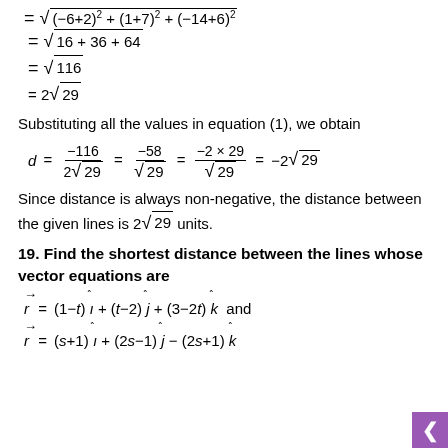Substituting all the values in equation (1), we obtain
Since distance is always non-negative, the distance between the given lines is 2√29 units.
19. Find the shortest distance between the lines whose vector equations are